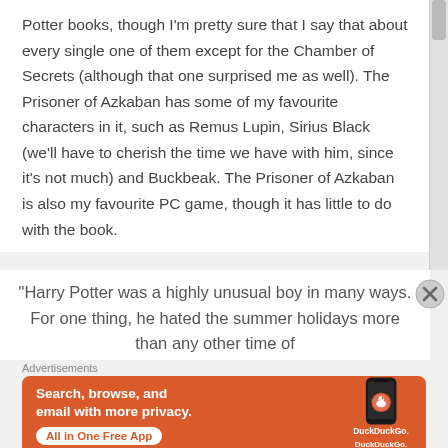Potter books, though I'm pretty sure that I say that about every single one of them except for the Chamber of Secrets (although that one surprised me as well). The Prisoner of Azkaban has some of my favourite characters in it, such as Remus Lupin, Sirius Black (we'll have to cherish the time we have with him, since it's not much) and Buckbeak. The Prisoner of Azkaban is also my favourite PC game, though it has little to do with the book.
“Harry Potter was a highly unusual boy in many ways. For one thing, he hated the summer holidays more than any other time of
Advertisements
[Figure (other): DuckDuckGo advertisement banner with orange background. Text reads 'Search, browse, and email with more privacy. All in One Free App' with DuckDuckGo logo and a smartphone.]